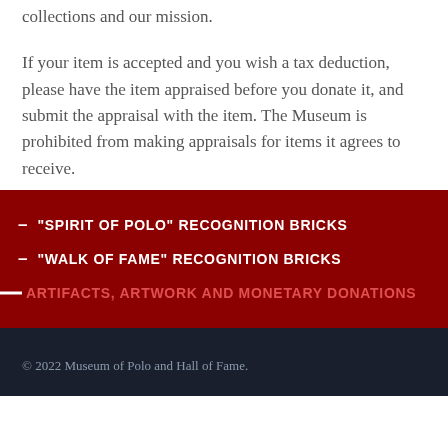collections and our mission.
If your item is accepted and you wish a tax deduction, please have the item appraised before you donate it, and submit the appraisal with the item. The Museum is prohibited from making appraisals for items it agrees to receive.
– "SPIRIT OF POLO" RECOGNITION BRICKS
– "WALK OF FAME" RECOGNITION BRICKS
— ARTIFACTS, ARTWORK AND MONETARY DONATIONS
© 2022 Museum of Polo and Hall of Fame.